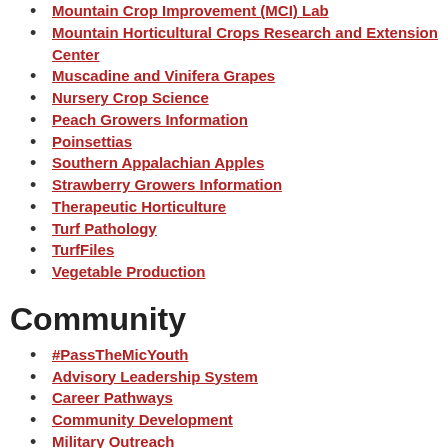Mountain Crop Improvement (MCI) Lab
Mountain Horticultural Crops Research and Extension Center
Muscadine and Vinifera Grapes
Nursery Crop Science
Peach Growers Information
Poinsettias
Southern Appalachian Apples
Strawberry Growers Information
Therapeutic Horticulture
Turf Pathology
TurfFiles
Vegetable Production
Community
#PassTheMicYouth
Advisory Leadership System
Career Pathways
Community Development
Military Outreach
NC AgVentures
NC Disaster Information Center